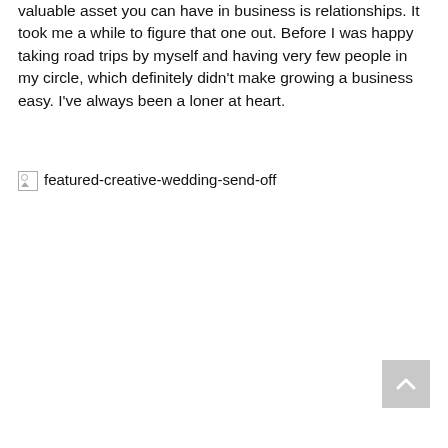valuable asset you can have in business is relationships. It took me a while to figure that one out. Before I was happy taking road trips by myself and having very few people in my circle, which definitely didn't make growing a business easy. I've always been a loner at heart.
[Figure (photo): Broken image placeholder with alt text 'featured-creative-wedding-send-off']